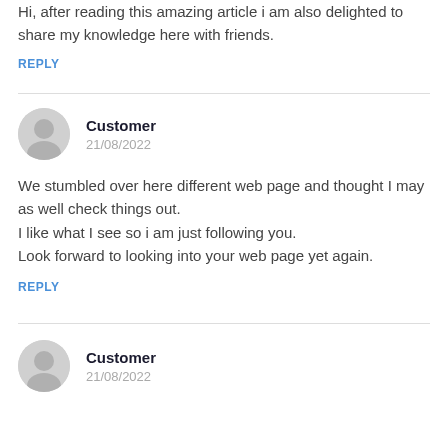Hi, after reading this amazing article i am also delighted to share my knowledge here with friends.
REPLY
Customer
21/08/2022
We stumbled over here different web page and thought I may as well check things out.
I like what I see so i am just following you.
Look forward to looking into your web page yet again.
REPLY
Customer
21/08/2022